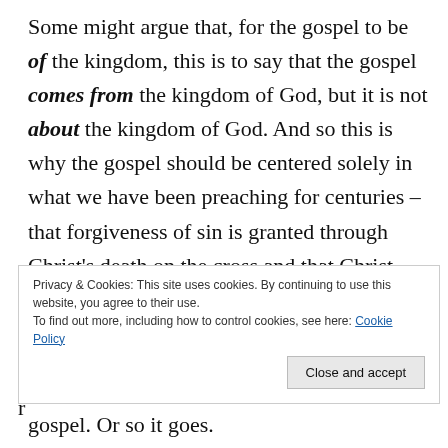Some might argue that, for the gospel to be of the kingdom, this is to say that the gospel comes from the kingdom of God, but it is not about the kingdom of God. And so this is why the gospel should be centered solely in what we have been preaching for centuries – that forgiveness of sin is granted through Christ's death on the cross and that Christ rose again (i.e. as is discerned from reading passages like 1 Cor 15:1-4). And we also add in the great qualifier that one can
Privacy & Cookies: This site uses cookies. By continuing to use this website, you agree to their use.
To find out more, including how to control cookies, see here: Cookie Policy
[Close and accept]
gospel. Or so it goes.